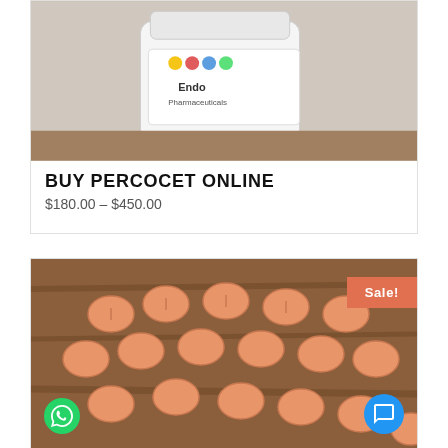[Figure (photo): Photo of a white pill bottle with Endo Pharmaceuticals label and colorful dots]
BUY PERCOCET ONLINE
$180.00 – $450.00
[Figure (photo): Photo of many orange round pills scattered on a wooden surface, with a Sale! badge in the top right corner]